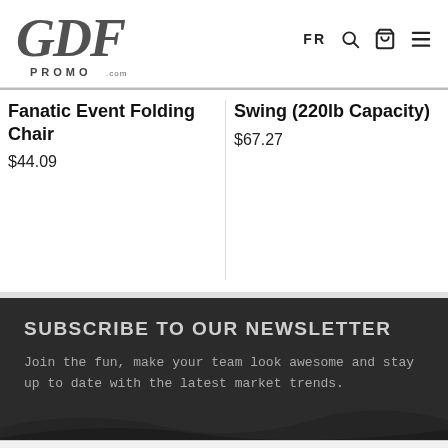[Figure (logo): GDF Promo.com handwritten logo in dark ink]
FR
Fanatic Event Folding Chair
$44.09
Swing (220lb Capacity)
$67.27
SUBSCRIBE TO OUR NEWSLETTER
Join the fun, make your team look awesome and stay up to date with the latest market trends.